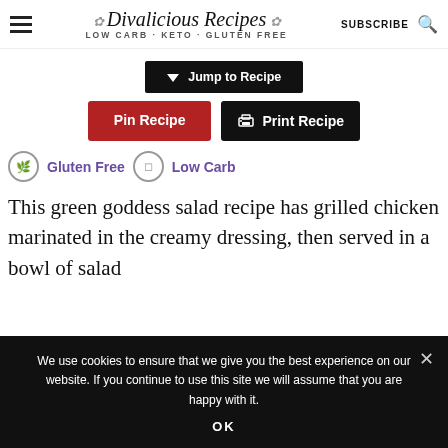Divalicious Recipes LOW CARB - KETO - GLUTEN FREE | SUBSCRIBE
Jump to Recipe
Pin Recipe   Print Recipe
Gluten Free  Low Carb
This green goddess salad recipe has grilled chicken marinated in the creamy dressing, then served in a bowl of salad
We use cookies to ensure that we give you the best experience on our website. If you continue to use this site we will assume that you are happy with it.
OK